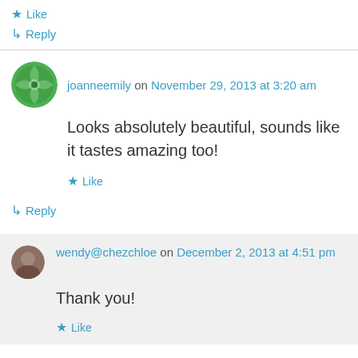★ Like
↳ Reply
joanneemily on November 29, 2013 at 3:20 am
Looks absolutely beautiful, sounds like it tastes amazing too!
★ Like
↳ Reply
wendy@chezchloe on December 2, 2013 at 4:51 pm
Thank you!
★ Like